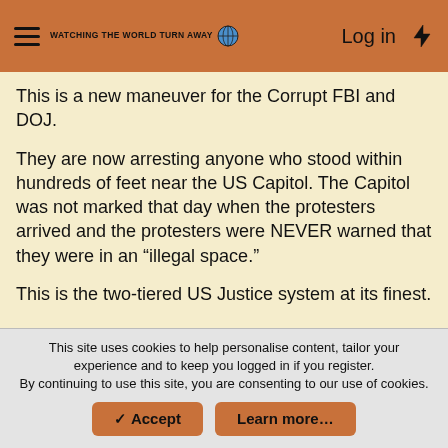Watching The World Turn Away — Log in
This is a new maneuver for the Corrupt FBI and DOJ.
They are now arresting anyone who stood within hundreds of feet near the US Capitol. The Capitol was not marked that day when the protesters arrived and the protesters were NEVER warned that they were in an “illegal space.”
This is the two-tiered US Justice system at its finest.
This site uses cookies to help personalise content, tailor your experience and to keep you logged in if you register.
By continuing to use this site, you are consenting to our use of cookies.